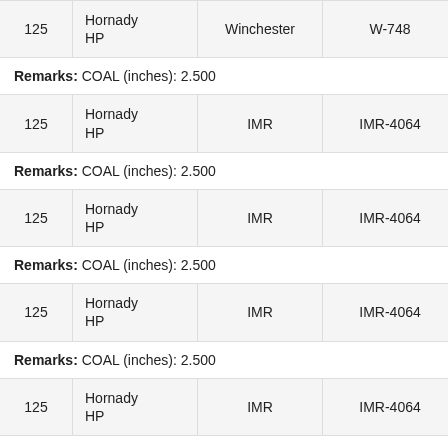|  | Bullet | Powder | Model | Action |
| --- | --- | --- | --- | --- |
| 125 | Hornady HP | Winchester | W-748 | SUBSCRIBE |
| 125 | Hornady HP | IMR | IMR-4064 | SUBSCRIBE |
| 125 | Hornady HP | IMR | IMR-4064 | SUBSCRIBE |
| 125 | Hornady HP | IMR | IMR-4064 | SUBSCRIBE |
| 125 | Hornady HP | IMR | IMR-4064 | SUBSCRIBE |
Remarks: COAL (inches): 2.500
Remarks: COAL (inches): 2.500
Remarks: COAL (inches): 2.500
Remarks: COAL (inches): 2.500
Remarks: COAL (inches): 2.500